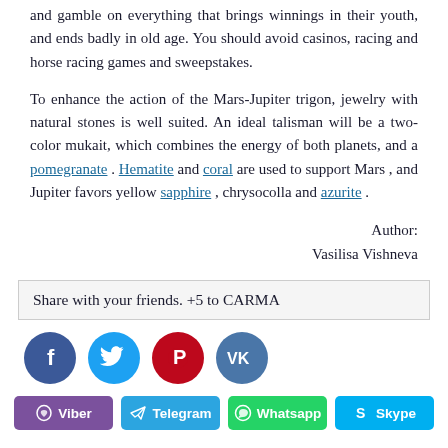and gamble on everything that brings winnings in their youth, and ends badly in old age. You should avoid casinos, racing and horse racing games and sweepstakes.
To enhance the action of the Mars-Jupiter trigon, jewelry with natural stones is well suited. An ideal talisman will be a two-color mukait, which combines the energy of both planets, and a pomegranate . Hematite and coral are used to support Mars , and Jupiter favors yellow sapphire , chrysocolla and azurite .
Author:
Vasilisa Vishneva
Share with your friends. +5 to CARMA
[Figure (infographic): Four social media icon circles: Facebook (blue), Twitter (light blue), Pinterest (red), VK (steel blue)]
[Figure (infographic): Four share buttons: Viber (purple), Telegram (blue), Whatsapp (green), Skype (sky blue)]